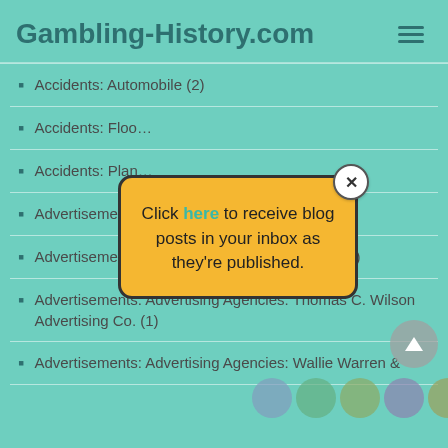Gambling-History.com
Accidents: Automobile (2)
Accidents: Flood
Accidents: Plane
Advertisements (6…
Advertisements: Advertising Agencies: Hoefer (1)
Advertisements: Advertising Agencies: Thomas C. Wilson Advertising Co. (1)
Advertisements: Advertising Agencies: Wallie Warren &
[Figure (screenshot): Popup modal with yellow background saying 'Click here to receive blog posts in your inbox as they're published.' with a close X button.]